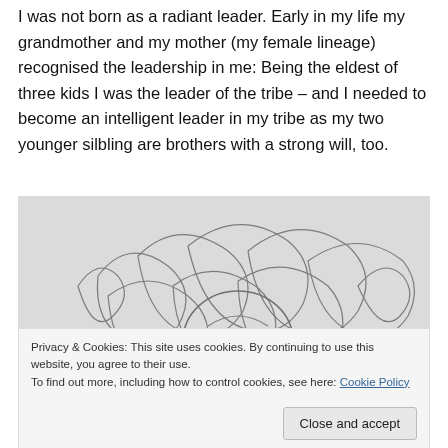I was not born as a radiant leader. Early in my life my grandmother and my mother (my female lineage) recognised the leadership in me: Being the eldest of three kids I was the leader of the tribe – and I needed to become an intelligent leader in my tribe as my two younger silbling are brothers with a strong will, too.
[Figure (illustration): A pencil sketch drawing showing swirling, flowing lines resembling a lion or animal with curly mane, drawn on white paper.]
Privacy & Cookies: This site uses cookies. By continuing to use this website, you agree to their use.
To find out more, including how to control cookies, see here: Cookie Policy
[Close and accept]
[Figure (illustration): Bottom portion of a pencil sketch illustration, partially visible.]